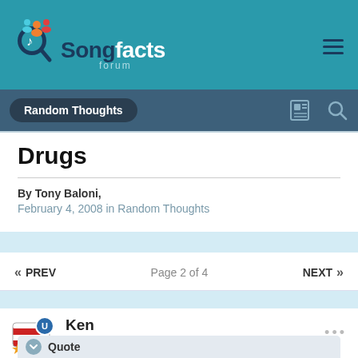Songfacts forum
Random Thoughts
Drugs
By Tony Baloni, February 4, 2008 in Random Thoughts
« PREV   Page 2 of 4   NEXT »
Ken
Posted February 22, 2008
Quote